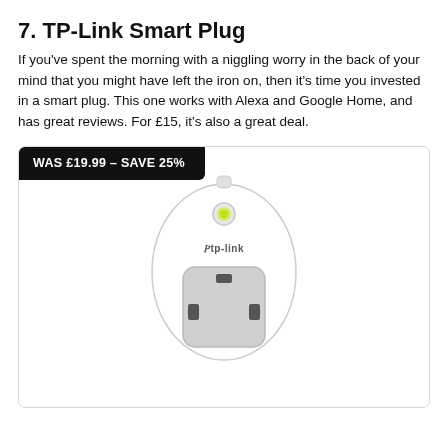7. TP-Link Smart Plug
If you've spent the morning with a niggling worry in the back of your mind that you might have left the iron on, then it's time you invested in a smart plug. This one works with Alexa and Google Home, and has great reviews. For £15, it's also a great deal.
[Figure (photo): TP-Link smart plug product photo showing a white rounded smart plug with a UK socket, TP-Link logo, and a small LED indicator button on top. A black badge reads WAS £19.99 - SAVE 25%]